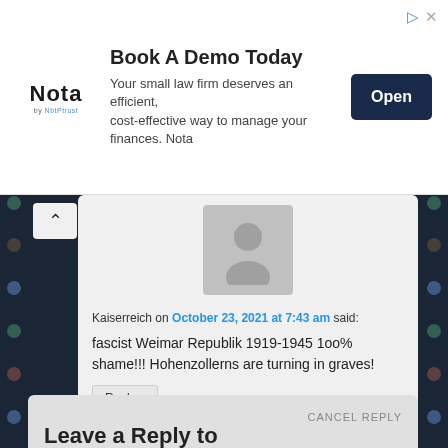[Figure (screenshot): Advertisement banner for Nota by NbtPtrust - 'Book A Demo Today' with logo, description text, and Open button]
Kaiserreich on October 23, 2021 at 7:43 am said:
fascist Weimar Republik 1919-1945 1oo% shame!!! Hohenzollerns are turning in graves!
Reply ↓
Leave a Reply to neozeed
Your email address will not be published. Required fields are marked *